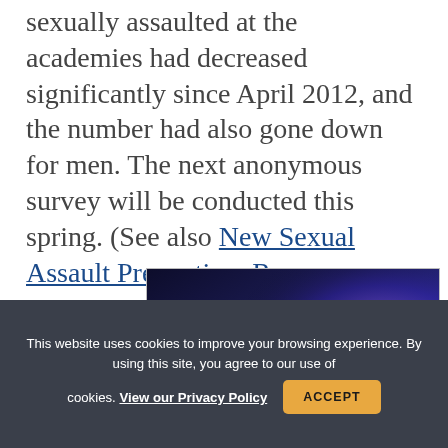sexually assaulted at the academies had decreased significantly since April 2012, and the number had also gone down for men. The next anonymous survey will be conducted this spring. (See also New Sexual Assault Prevention, Response Strategy and Air Force Sexual Assault Incidents Lowest in DOD.)
[Figure (photo): Image showing 'LVC' text in large white bold letters on a dark blue/purple background with what appears to be a pilot helmet or aviation-related imagery]
This website uses cookies to improve your browsing experience. By using this site, you agree to our use of cookies. View our Privacy Policy  ACCEPT